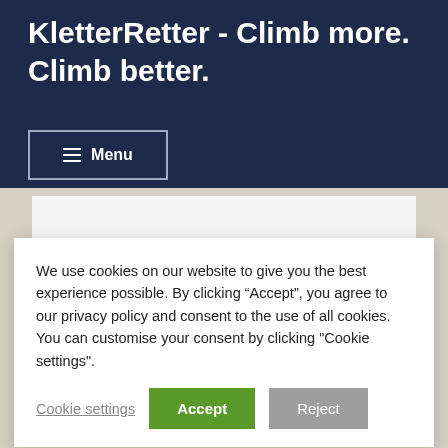KletterRetter - Climb more. Climb better.
Menu
[Figure (illustration): Climbing-related sticker illustration with climbing shoes and equipment graphics, partially visible behind a cookie consent dialog]
We use cookies on our website to give you the best experience possible. By clicking “Accept”, you agree to our privacy policy and consent to the use of all cookies. You can customise your consent by clicking "Cookie settings".
Cookie settings
Accept
Reject